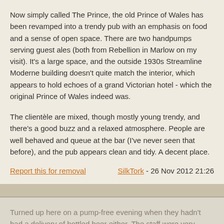Now simply called The Prince, the old Prince of Wales has been revamped into a trendy pub with an emphasis on food and a sense of open space. There are two handpumps serving guest ales (both from Rebellion in Marlow on my visit). It's a large space, and the outside 1930s Streamline Moderne building doesn't quite match the interior, which appears to hold echoes of a grand Victorian hotel - which the original Prince of Wales indeed was.

The clientèle are mixed, though mostly young trendy, and there's a good buzz and a relaxed atmosphere. People are well behaved and queue at the bar (I've never seen that before), and the pub appears clean and tidy. A decent place.
Report this for removal   SilkTork - 26 Nov 2012 21:26
Turned up here on a pump-free evening when they hadn't had a delivery of bottled beer either. The staff were very